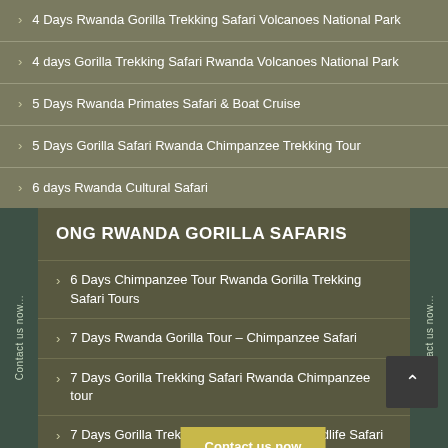4 Days Rwanda Gorilla Trekking Safari Volcanoes National Park
4 days Gorilla Trekking Safari Rwanda Volcanoes National Park
5 Days Rwanda Primates Safari & Boat Cruise
5 Days Gorilla Safari Rwanda Chimpanzee Trekking Tour
6 days Rwanda Cultural Safari
ONG RWANDA GORILLA SAFARIS
6 Days Chimpanzee Tour Rwanda Gorilla Trekking Safari Tours
7 Days Rwanda Gorilla Tour – Chimpanzee Safari
7 Days Gorilla Trekking Safari Rwanda Chimpanzee tour
7 Days Gorilla Trekking Safaris Rwanda Wildlife Safari Tour
8 Days Gorilla Trekking Safari Uganda Rwanda Cultural Chimpanzee Tracking Tour
9 Days Gorilla Trekking Safaris Uganda...